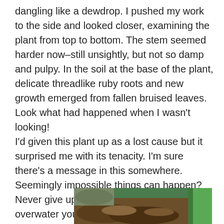dangling like a dewdrop. I pushed my work to the side and looked closer, examining the plant from top to bottom. The stem seemed harder now–still unsightly, but not so damp and pulpy. In the soil at the base of the plant, delicate threadlike ruby roots and new growth emerged from fallen bruised leaves. Look what had happened when I wasn't looking!
I'd given this plant up as a lost cause but it surprised me with its tenacity. I'm sure there's a message in this somewhere.  Seemingly impossible things can happen? Never give up? Spring will come? Don't overwater your succulent?  Regardless of the message, my spirits lifted and I returned to work, smiling and feeling more hopeful. Maybe I can actually get my work done.
[Figure (photo): Partial photo of a plant in a green pot with soil visible, cut off at the bottom of the page.]